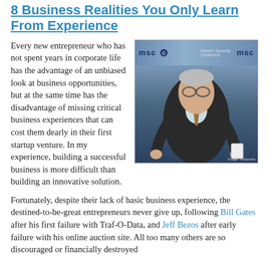8 Business Realities You Only Learn From Experience
Every new entrepreneur who has not spent years in corporate life has the advantage of an unbiased look at business opportunities, but at the same time has the disadvantage of missing critical business experiences that can cost them dearly in their first startup venture. In my experience, building a successful business is more difficult than building an innovative solution.
[Figure (photo): Photo of a businessman (Bill Gates) seated at a conference with MSC (Munich Security Conference) banners in the background.]
Fortunately, despite their lack of basic business experience, the destined-to-be-great entrepreneurs never give up, following Bill Gates after his first failure with Traf-O-Data, and Jeff Bezos after early failure with his online auction site. All too many others are so discouraged or financially destroyed